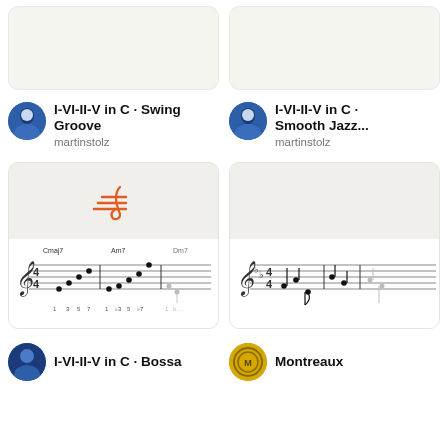[Figure (screenshot): Top left music card - blank/white content area]
[Figure (screenshot): Top right music card - blank/white content area]
I-VI-II-V in C · Swing Groove
martinstolz
I-VI-II-V in C · Smooth Jazz...
martinstolz
[Figure (illustration): Music notation card with Flat.io logo (treble clef with horizontal lines) and sheet music showing Cmaj7, Am7, Dm7 chords with scale degrees 1 3 5 7 / 1 b3 5 b7 / 1 b...]
[Figure (illustration): Right music card showing sheet music in flat key with eighth and quarter notes]
I-VI-II-V in C · Bossa
Montreaux